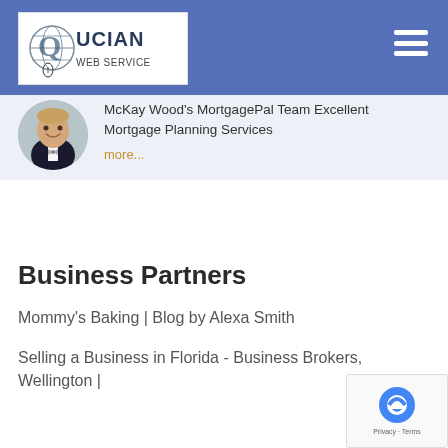Lucian Web Service
[Figure (logo): Lucian Web Service logo with globe icon, white background, text 'LUCIAN WEB SERVICE']
McKay Wood's MortgagePal Team Excellent Mortgage Planning Services
more...
Business Partners
Mommy's Baking | Blog by Alexa Smith
Selling a Business in Florida - Business Brokers, Wellington |